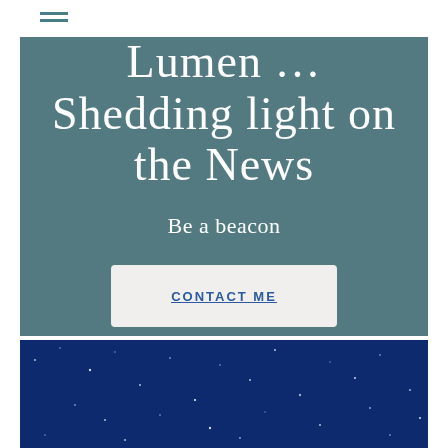[Figure (other): Hamburger menu icon with two horizontal lines]
Lumen … Shedding light on the News
Be a beacon
CONTACT ME
[Figure (photo): Dark blue night sky with scattered stars background image]